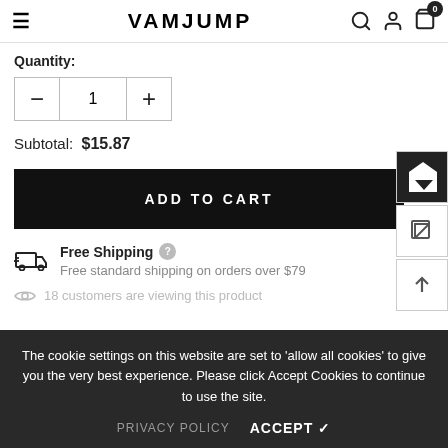VAMJUMP
Quantity:
Subtotal: $15.87
ADD TO CART
Free Shipping
Free standard shipping on orders over $79
18 customers are viewing this product
The cookie settings on this website are set to 'allow all cookies' to give you the very best experience. Please click Accept Cookies to continue to use the site.
PRIVACY POLICY  ACCEPT ✓
DESCRIPTION